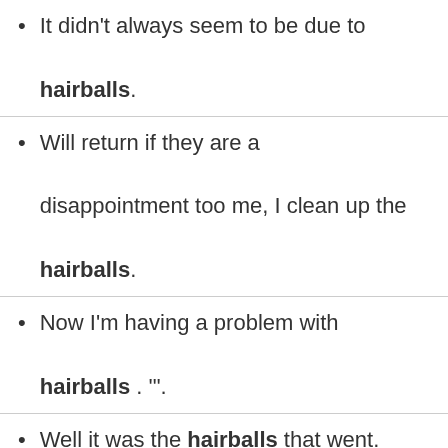It didn't always seem to be due to hairballs.
Will return if they are a disappointment too me, I clean up the hairballs.
Now I'm having a problem with hairballs . '"".
Well it was the hairballs that went.
It requires a little brushing now and then to remove loose hairs and guard